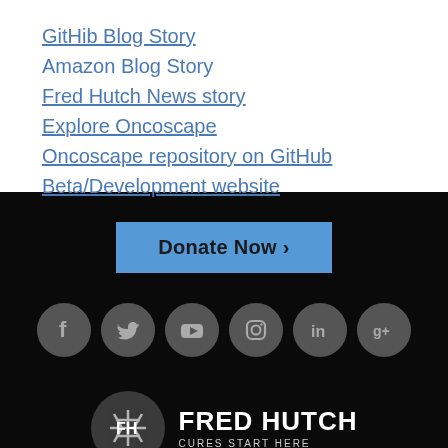GitHib Blog Story
Amazon Blog Story
Fred Hutch News story
Explore Oncoscape
Oncoscape repository on GitHub
Beta/Development website
[Figure (screenshot): Donate Now button in blue on black background, followed by social media icons (Facebook, Twitter, YouTube, Instagram, LinkedIn, Google+) and Fred Hutch logo with text FRED HUTCH CURES START HERE]